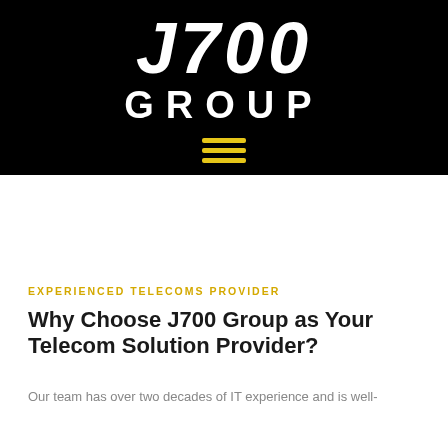[Figure (logo): J700 Group logo with white bold italic text on black background, with yellow hamburger menu icon below]
EXPERIENCED TELECOMS PROVIDER
Why Choose J700 Group as Your Telecom Solution Provider?
Our team has over two decades of IT experience and is well-